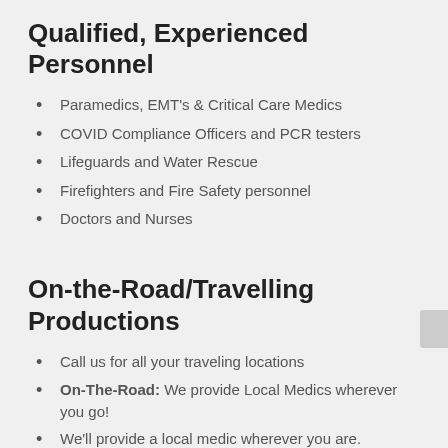Qualified, Experienced Personnel
Paramedics, EMT's & Critical Care Medics
COVID Compliance Officers and PCR testers
Lifeguards and Water Rescue
Firefighters and Fire Safety personnel
Doctors and Nurses
On-the-Road/Travelling Productions
Call us for all your traveling locations
On-The-Road: We provide Local Medics wherever you go!
We'll provide a local medic wherever you are.